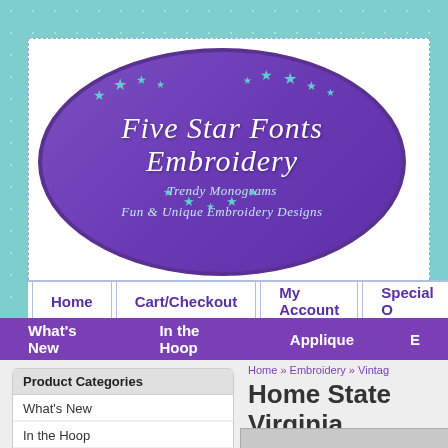[Figure (logo): Five Star Fonts Embroidery logo - purple oval with white italic text and teal stars, subtitle reads Trendy Monograms Fun & Unique Embroidery Designs]
Home | Cart/Checkout | My Account | Special O
What's New | In the Hoop | Applique | E
Product Categories
What's New
In the Hoop
Applique
Embroidery
All Embroidery
Home » Embroidery » Vintag
Home State Virginia